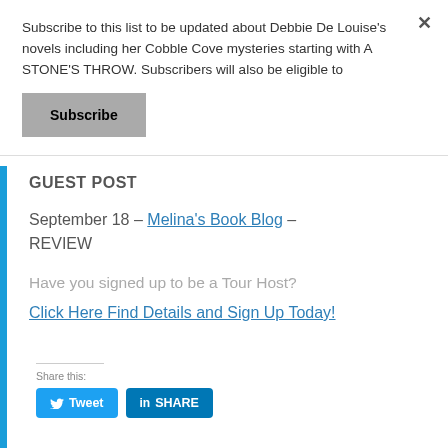Subscribe to this list to be updated about Debbie De Louise's novels including her Cobble Cove mysteries starting with A STONE'S THROW. Subscribers will also be eligible to
Subscribe
GUEST POST
September 18 – Melina's Book Blog – REVIEW
Have you signed up to be a Tour Host?
Click Here Find Details and Sign Up Today!
Share this:
Tweet  SHARE